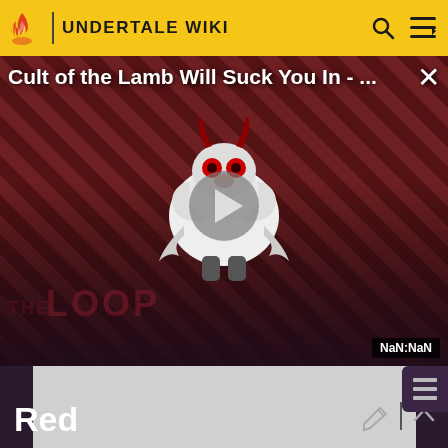UNDERTALE WIKI
[Figure (screenshot): Video overlay for 'Cult of the Lamb Will Suck You In - ...' with striped dark red/brown background, cartoon lamb character with horns, play button in center, THE LOOP watermark, NaN:NaN timer badge, and X close button. Fandom/The Loop video player.]
NaN:NaN
ADVERTISEMENT
Red